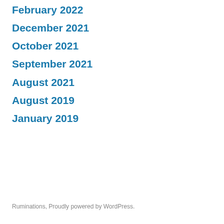February 2022
December 2021
October 2021
September 2021
August 2021
August 2019
January 2019
Ruminations, Proudly powered by WordPress.